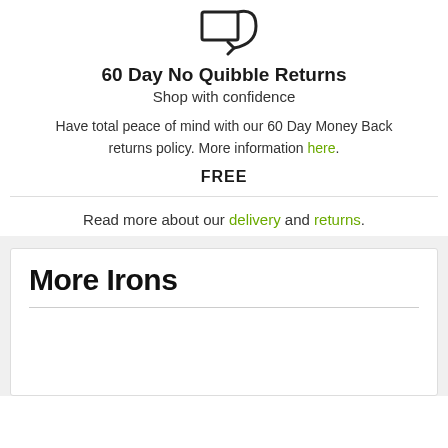[Figure (illustration): Icon of a return/arrow symbol — a box with an arrow pointing back/left, representing returns policy]
60 Day No Quibble Returns
Shop with confidence
Have total peace of mind with our 60 Day Money Back returns policy. More information here.
FREE
Read more about our delivery and returns.
More Irons